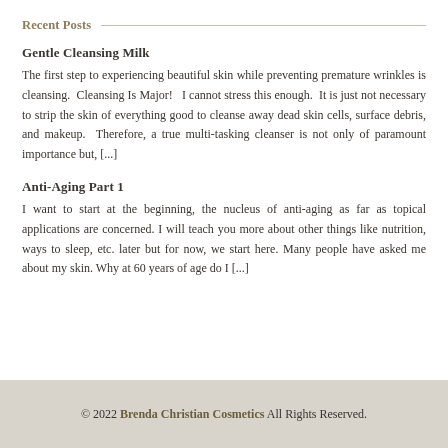Recent Posts
Gentle Cleansing Milk
The first step to experiencing beautiful skin while preventing premature wrinkles is cleansing.  Cleansing Is Major!   I cannot stress this enough.  It is just not necessary to strip the skin of everything good to cleanse away dead skin cells, surface debris, and makeup.  Therefore, a true multi-tasking cleanser is not only of paramount importance but, [...]
Anti-Aging Part 1
I want to start at the beginning, the nucleus of anti-aging as far as topical applications are concerned. I will teach you more about other things like nutrition, ways to sleep, etc. later but for now, we start here. Many people have asked me about my skin. Why at 60 years of age do I [...]
© 2022 Brenda Christian Cosmetics All Rights Reserved.